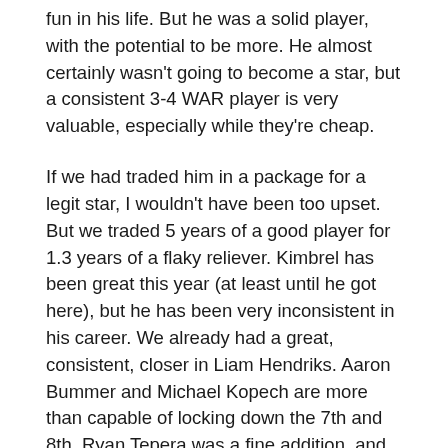fun in his life. But he was a solid player, with the potential to be more. He almost certainly wasn't going to become a star, but a consistent 3-4 WAR player is very valuable, especially while they're cheap.
If we had traded him in a package for a legit star, I wouldn't have been too upset. But we traded 5 years of a good player for 1.3 years of a flaky reliever. Kimbrel has been great this year (at least until he got here), but he has been very inconsistent in his career. We already had a great, consistent, closer in Liam Hendriks. Aaron Bummer and Michael Kopech are more than capable of locking down the 7th and 8th. Ryan Tepera was a fine addition, and would have helped to solidify the middle of the bullpen, along with Garrett Crochet. So we traded something like 15-20 WAR (plus Codi Heuer) for a reliever we didn't really need that will be lucky to be worth